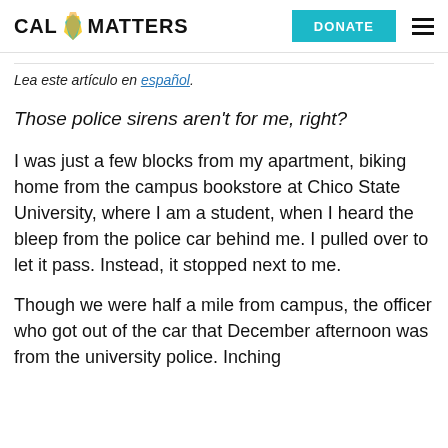CAL MATTERS | DONATE
Lea este artículo en español.
Those police sirens aren't for me, right?
I was just a few blocks from my apartment, biking home from the campus bookstore at Chico State University, where I am a student, when I heard the bleep from the police car behind me. I pulled over to let it pass. Instead, it stopped next to me.
Though we were half a mile from campus, the officer who got out of the car that December afternoon was from the university police. Inching